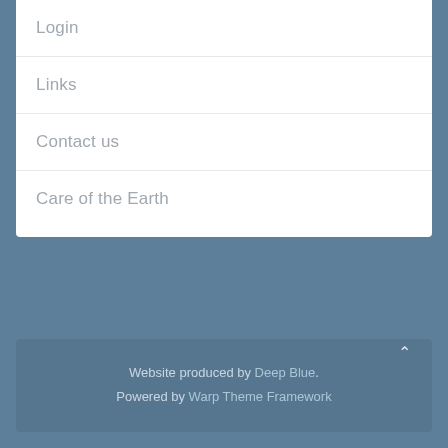Login
Links
Contact us
Care of the Earth
Website produced by Deep Blue. Powered by Warp Theme Framework